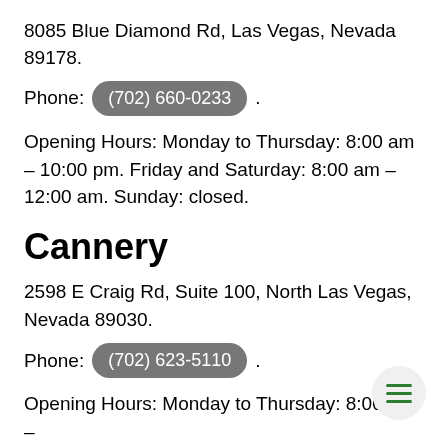8085 Blue Diamond Rd, Las Vegas, Nevada 89178.
Phone: (702) 660-0233.
Opening Hours: Monday to Thursday: 8:00 am – 10:00 pm. Friday and Saturday: 8:00 am – 12:00 am. Sunday: closed.
Cannery
2598 E Craig Rd, Suite 100, North Las Vegas, Nevada 89030.
Phone: (702) 623-5110.
Opening Hours: Monday to Thursday: 8:00 am –